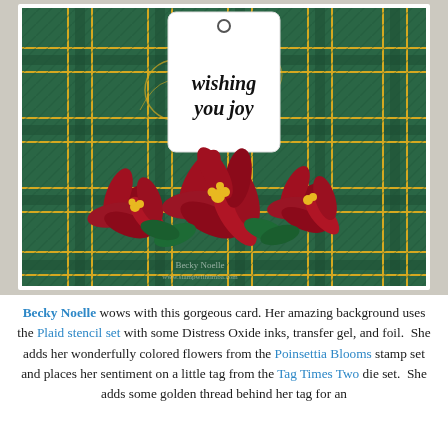[Figure (photo): A handmade Christmas card featuring a green plaid background (created with Plaid stencil set, Distress Oxide inks, transfer gel and foil), red poinsettia flowers from the Poinsettia Blooms stamp set arranged at the bottom, and a white tag with 'wishing you joy' sentiment placed above the flowers. Golden thread visible behind the tag.]
Becky Noelle wows with this gorgeous card. Her amazing background uses the Plaid stencil set with some Distress Oxide inks, transfer gel, and foil.  She adds her wonderfully colored flowers from the Poinsettia Blooms stamp set and places her sentiment on a little tag from the Tag Times Two die set.  She adds some golden thread behind her tag for an